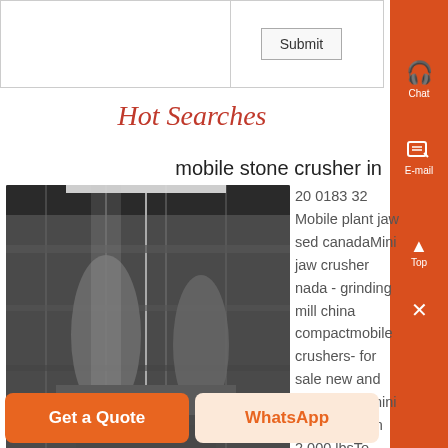|  |  |
| --- | --- |
|  | Submit |
Hot Searches
[Figure (photo): Industrial mobile stone crusher equipment inside a facility with metal structures and pipes]
mobile stone crusher in
20 0183 32 Mobile plant jaw
used canadaMini jaw crusher
nada - grinding mill china
compactmobile crushers- for sale new and usedMicro, mini and midi from 2,000 lbsTo 30,000 lbsModelsTrack, skid or wheel mounted jaw crushers, impact more detailed mini mobile jaw crusher used in
Get a Quote
WhatsApp